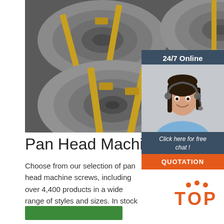[Figure (photo): Steel coils wrapped with yellow straps stacked in a warehouse, viewed from above at an angle.]
[Figure (infographic): 24/7 Online chat widget showing a smiling woman with a headset, 'Click here for free chat!' text, and an orange QUOTATION button, on a dark blue-grey background.]
Pan Head Machine Scr...
Choose from our selection of pan head machine screws, including over 4,400 products in a wide range of styles and sizes. In stock and ready to ship.
[Figure (logo): TOP logo with orange dots above the word TOP in orange.]